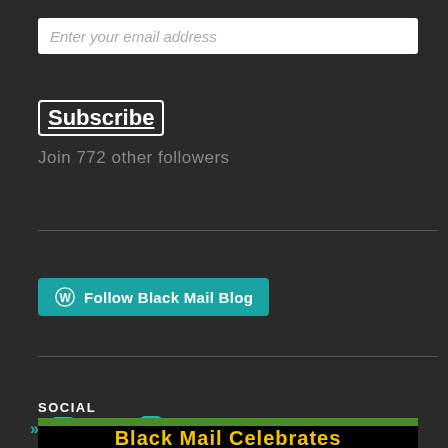Enter your email address
Subscribe
Join 772 other followers
[Figure (other): Follow Black Mail Blog button with WordPress icon on teal background]
SOCIAL
[Figure (other): Social media icons: Facebook, Twitter, Instagram, Pinterest with double-arrow links]
[Figure (other): Black Mail Celebrates banner with green bar and yellow text on black background]